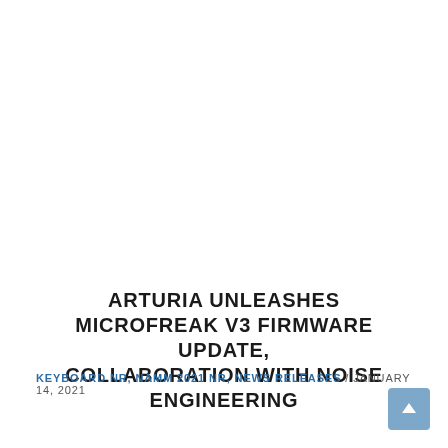ARTURIA UNLEASHES MICROFREAK V3 FIRMWARE UPDATE, COLLABORATION WITH NOISE ENGINEERING
KEYBOARD NR, NAMM 2021 NR, NEWS RELEASES / JANUARY 14, 2021